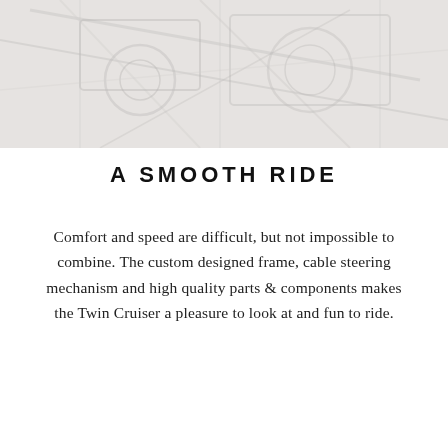[Figure (photo): Grayscale photograph of the Twin Cruiser vehicle/machinery, showing mechanical parts, cable mechanisms, and frame structure from a close-up angle. Image appears faded/light.]
A SMOOTH RIDE
Comfort and speed are difficult, but not impossible to combine. The custom designed frame, cable steering mechanism and high quality parts & components makes the Twin Cruiser a pleasure to look at and fun to ride.